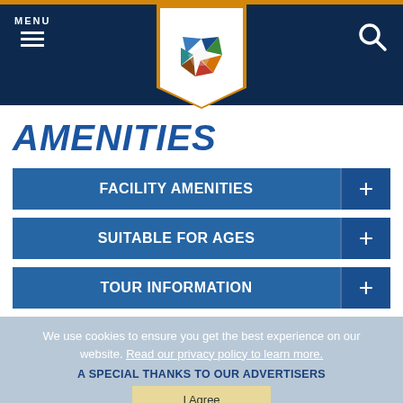MENU [hamburger icon] [logo] [search icon]
AMENITIES
FACILITY AMENITIES +
SUITABLE FOR AGES +
TOUR INFORMATION +
We use cookies to ensure you get the best experience on our website. Read our privacy policy to learn more.
A SPECIAL THANKS TO OUR ADVERTISERS
I Agree